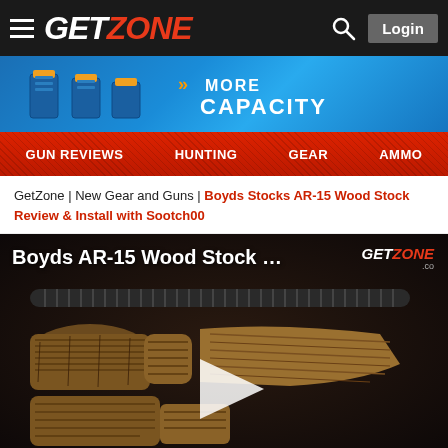GETZONE - Login
[Figure (screenshot): Advertisement banner showing magazine clips with text MORE CAPACITY on blue background]
GUN REVIEWS | HUNTING | GEAR | AMMO
GetZone | New Gear and Guns | Boyds Stocks AR-15 Wood Stock Review & Install with Sootch00
[Figure (screenshot): Video thumbnail for Boyds AR-15 Wood Stock review showing wooden AR-15 stock components on dark background with GETZONE logo and play button]